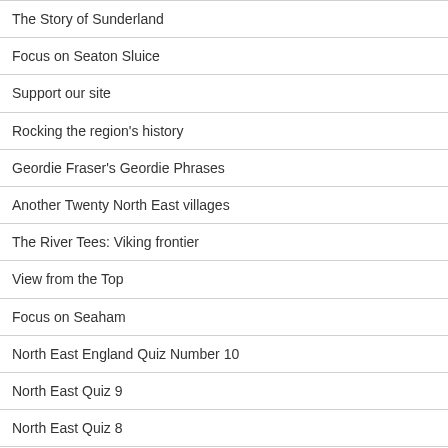The Story of Sunderland
Focus on Seaton Sluice
Support our site
Rocking the region's history
Geordie Fraser's Geordie Phrases
Another Twenty North East villages
The River Tees: Viking frontier
View from the Top
Focus on Seaham
North East England Quiz Number 10
North East Quiz 9
North East Quiz 8
North East Quiz 7